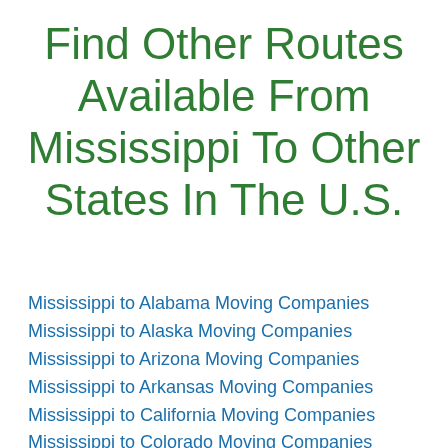Find Other Routes Available From Mississippi To Other States In The U.S.
Mississippi to Alabama Moving Companies
Mississippi to Alaska Moving Companies
Mississippi to Arizona Moving Companies
Mississippi to Arkansas Moving Companies
Mississippi to California Moving Companies
Mississippi to Colorado Moving Companies
Mississippi to Connecticut Moving Companies